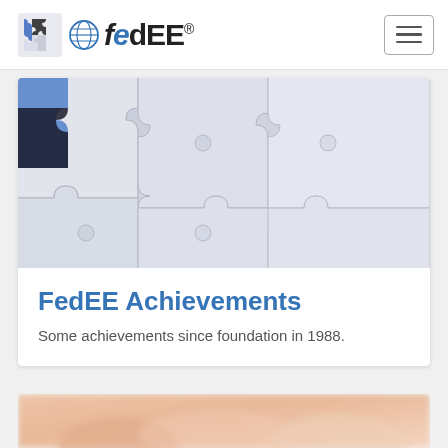FedEE
[Figure (photo): Puzzle pieces — white/grey jigsaw pieces with a blue piece visible, close-up photo]
FedEE Achievements
Some achievements since foundation in 1988.
[Figure (photo): Close-up blurred photo of a hand/fingers, peach/skin tone, bottom of page]